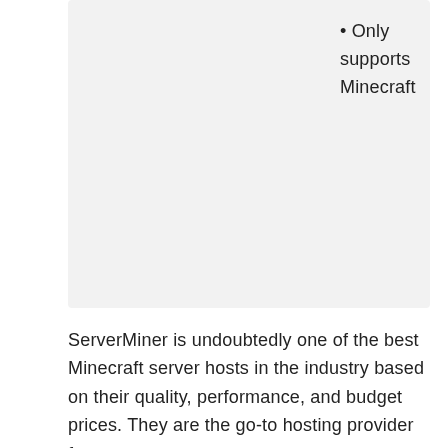Only supports Minecraft
ServerMiner is undoubtedly one of the best Minecraft server hosts in the industry based on their quality, performance, and budget prices. They are the go-to hosting provider for gamers